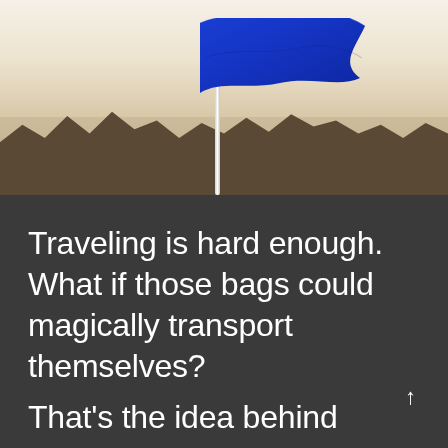[Figure (photo): A blue flag waving on a white flagpole against a hazy, warm-toned sky with dark treeline silhouette in the background.]
Traveling is hard enough. What if those bags could magically transport themselves?
That's the idea behind